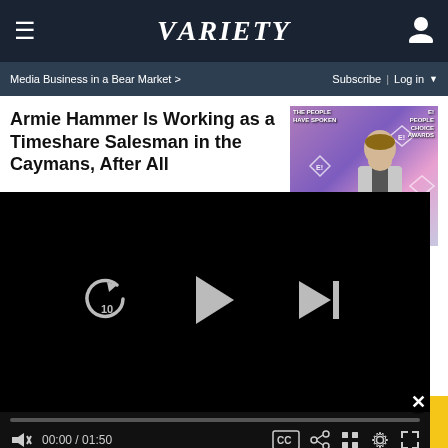VARIETY
Media Business in a Bear Market >
Subscribe | Log in
Armie Hammer Is Working as a Timeshare Salesman in the Caymans, After All
[Figure (photo): Armie Hammer at the People's Choice Awards on a purple/pink backdrop with E! logos]
[Figure (screenshot): Video player overlay showing paused state at 00:00 / 01:50 with rewind 10, play, and skip-next controls]
W... th...
'B... S... U...
NOW JUST $79